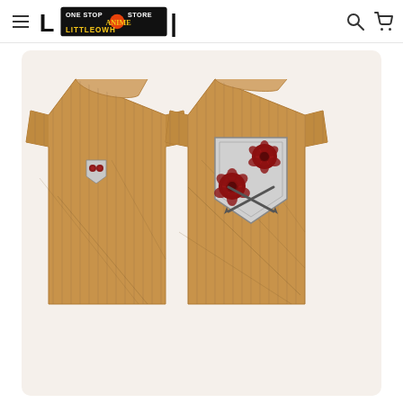LittleOwh One Stop Anime Store - navigation header with hamburger menu, logo, search and cart icons
[Figure (photo): Two views of a brown pinstripe anime t-shirt (Attack on Titan Military Police Brigade design): front view on left showing small rose shield badge on chest, back view on right showing large rose shield emblem with crossed blades on the back]